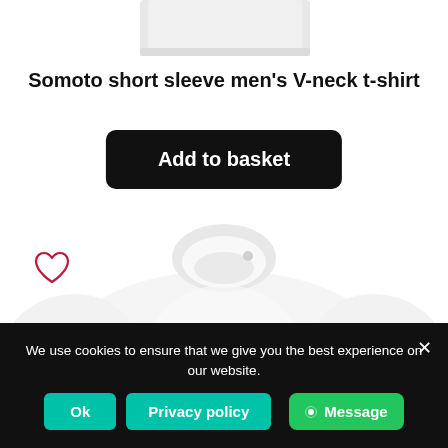[Figure (photo): Top portion of a white V-neck t-shirt product image, cropped at neckline/shoulder area]
Somoto short sleeve men's V-neck t-shirt
Add to basket
[Figure (photo): White crew-neck t-shirt product image showing collar and upper body, with a heart/wishlist icon on the left]
We use cookies to ensure that we give you the best experience on our website.
Ok
Privacy policy
Message